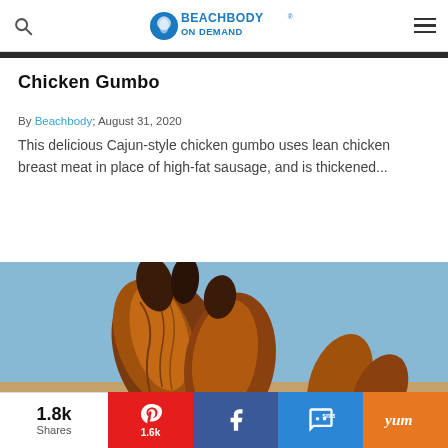Beachbody On Demand
Chicken Gumbo
By Beachbody; August 31, 2020
This delicious Cajun-style chicken gumbo uses lean chicken breast meat in place of high-fat sausage, and is thickened...
[Figure (photo): Close-up photo of crispy cooked chicken pieces held up against a blue sky background]
1.8k Shares | Pinterest 1.6k | Facebook | SMS | Yummly